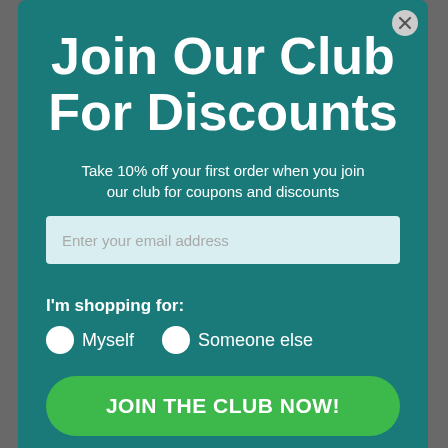Join Our Club For Discounts
Take 10% off your first order when you join our club for coupons and discounts
Enter your email address
I'm shopping for:
Myself
Someone else
JOIN THE CLUB NOW!